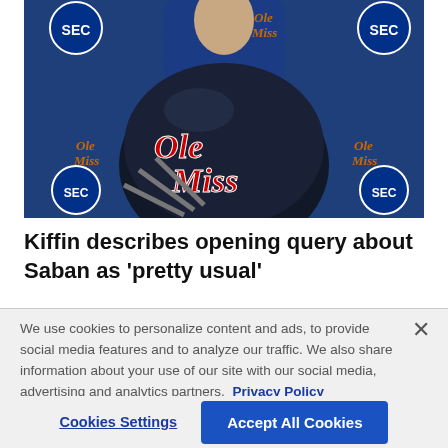[Figure (photo): Ole Miss football helmet with 'Ole Miss' script logo in red on dark navy helmet, placed in front of an Ole Miss/SEC branded step-and-repeat backdrop with SEC and Ole Miss logos, with a person in a suit visible in background.]
Kiffin describes opening query about Saban as 'pretty usual'
By [author] · July 13, 2022 05:11 PM EDT
We use cookies to personalize content and ads, to provide social media features and to analyze our traffic. We also share information about your use of our site with our social media, advertising and analytics partners.  Privacy Policy
Cookies Settings   Accept All Cookies